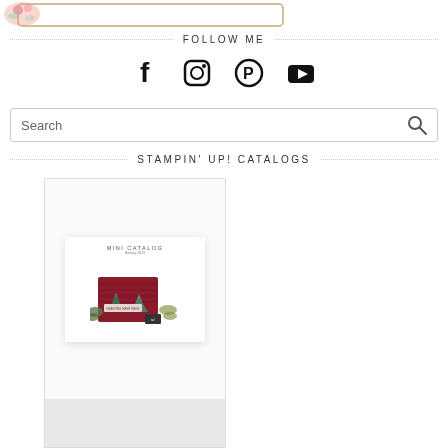[Figure (illustration): Blog header logo with floral decoration and decorative border box]
FOLLOW ME
[Figure (illustration): Social media icons: Facebook, Instagram, Pinterest, YouTube]
[Figure (screenshot): Search bar with magnifying glass icon]
STAMPIN' UP! CATALOGS
[Figure (photo): Stampin Up Mini Catalog cover showing holiday card with Christmas trees, red background, greenery decorations, and Stampin Up logo]